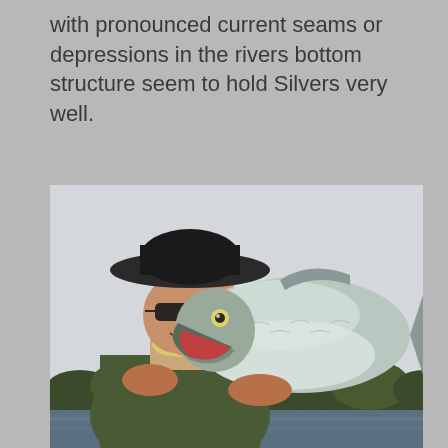with pronounced current seams or depressions in the rivers bottom structure seem to hold Silvers very well.
[Figure (photo): A smiling man wearing a wide-brimmed hat and sunglasses holds up a large silver salmon (coho) with its mouth open, outdoors near a river with trees visible in the background.]